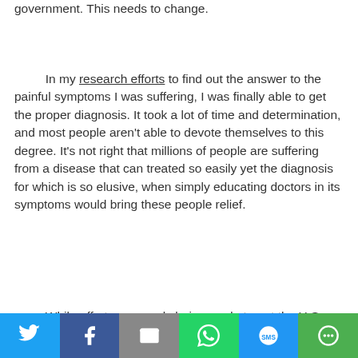government. This needs to change.
In my research efforts to find out the answer to the painful symptoms I was suffering, I was finally able to get the proper diagnosis. It took a lot of time and determination, and most people aren't able to devote themselves to this degree. It's not right that millions of people are suffering from a disease that can treated so easily yet the diagnosis for which is so elusive, when simply educating doctors in its symptoms would bring these people relief.
While efforts are surely being made to get the U.S.
[Figure (infographic): Social media share bar with Twitter, Facebook, Email, WhatsApp, SMS, and More buttons]